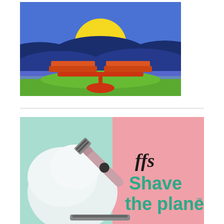[Figure (illustration): Stylized flat-art illustration of a landscape at sunset/sunrise: blue sky with a large yellow semicircle sun on the horizon, blue rolling hills/mountains in the background, green foreground fields, a river or water stripe in blue/purple, and two orange-red flat-roofed buildings balanced on a red pedestal/fulcrum shape on a red base, evoking a scales-of-justice or balance motif.]
[Figure (photo): Product advertisement image for FFS (ffs brand) with the text 'ffs' in italic script and 'Shave the planet™' in bold teal/green letters on a pink background, alongside a photo of a pink razor with a black button and shaving foam on a light blue/green surface.]